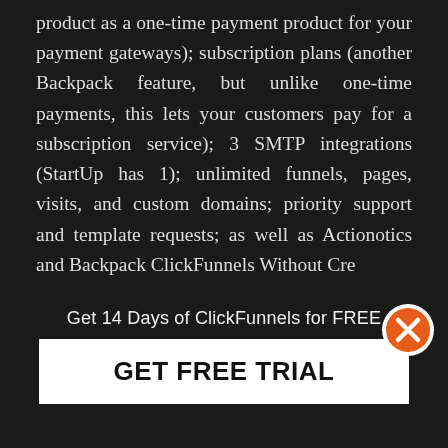product as a one-time payment product for your payment gateways); subscription plans (another Backpack feature, but unlike one-time payments, this lets your customers pay for a subscription service); 3 SMTP integrations (StartUp has 1); unlimited funnels, pages, visits, and custom domains; priority support and template requests; as well as Actionotics and Backpack ClickFunnels Without Cre...
[Figure (infographic): Popup overlay with text 'Get 14 Days of ClickFunnels for FREE' and a large white button labeled 'GET FREE TRIAL', with an orange X close button in the top right corner.]
If you're confused with Etison/ Full Suite, don't worry, it is confusing. This part I think ClickFunnels could really clean up. We'll go into more detail in the following section of this ClickFunnels review.